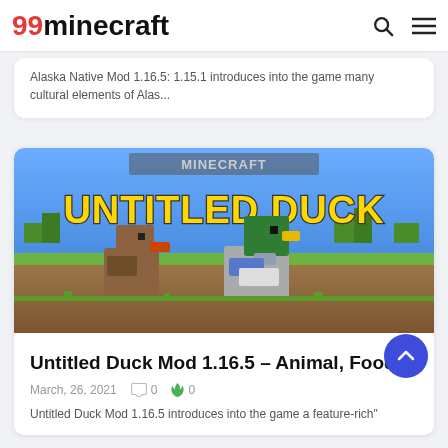99minecraft
Alaska Native Mod 1.16.5: 1.15.1 introduces into the game many cultural elements of Alas...
[Figure (illustration): Minecraft mod promotional image showing 'Untitled Duck' text at top with blocky Minecraft-style duck characters (brown duck with orange beak and green-headed duck with yellow beak) in a grassy Minecraft landscape]
Untitled Duck Mod 1.16.5 – Animal, Food
March, 26, 2021  0  0
Untitled Duck Mod 1.16.5 introduces into the game a feature-rich"